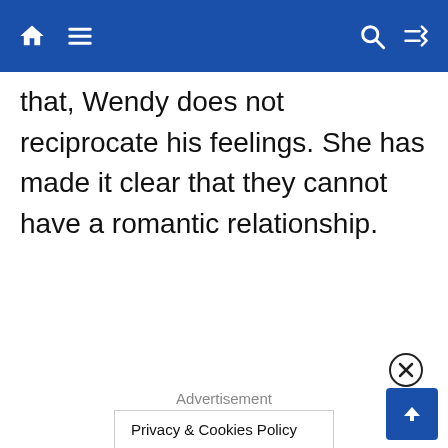Navigation bar with home, menu, search, and shuffle icons
that, Wendy does not reciprocate his feelings. She has made it clear that they cannot have a romantic relationship.
Advertisement
Privacy & Cookies Policy